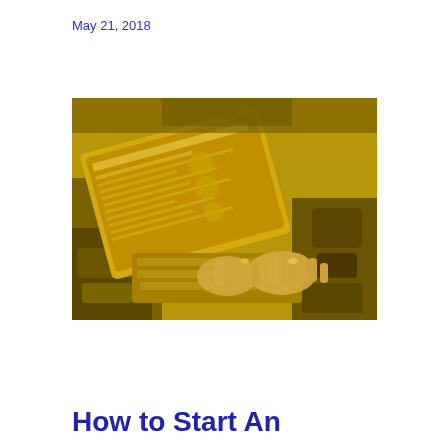May 21, 2018
[Figure (photo): A person typing on a laptop computer placed near an open car hood, photo with golden/yellow color tint overlay, showing diagnostic or automotive software on screen]
How to Start An